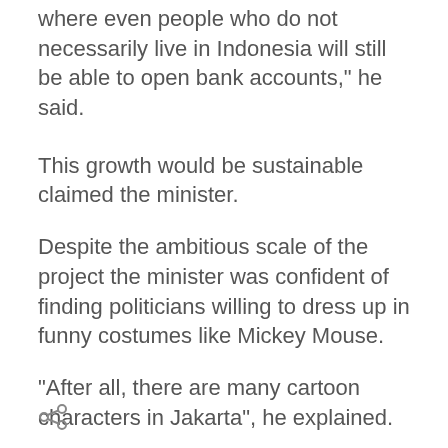We will create a free zone with a banking centre where even people who do not necessarily live in Indonesia will still be able to open bank accounts," he said.
This growth would be sustainable claimed the minister.
Despite the ambitious scale of the project the minister was confident of finding politicians willing to dress up in funny costumes like Mickey Mouse.
"After all, there are many cartoon characters in Jakarta", he explained.
[Figure (other): Share icon at bottom left of page]